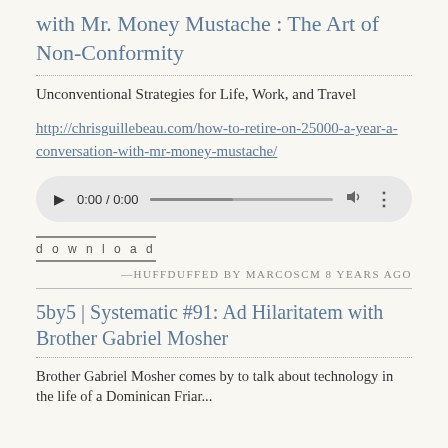with Mr. Money Mustache : The Art of Non-Conformity
Unconventional Strategies for Life, Work, and Travel
http://chrisguillebeau.com/how-to-retire-on-25000-a-year-a-conversation-with-mr-money-mustache/
[Figure (other): Audio player widget showing 0:00 / 0:00 with play button, progress bar, volume and more options icons]
download
—Huffduffed by marcoscm 8 years ago
5by5 | Systematic #91: Ad Hilaritatem with Brother Gabriel Mosher
Brother Gabriel Mosher comes by to talk about technology in the life of a Dominican Friar...